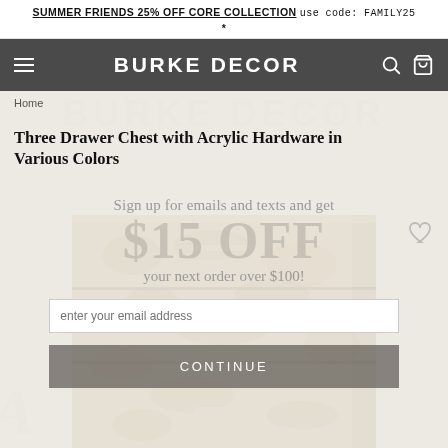SUMMER FRIENDS 25% OFF CORE COLLECTION use code: FAMILY25 *
BURKE DECOR
Home
Sign up for emails and texts and get $15 OFF your next order over $100!
Three Drawer Chest with Acrylic Hardware in Various Colors
[Figure (photo): Three drawer chest with burl wood veneer finish and acrylic hardware, shown in a sandy/warm neutral color against a light background with modal overlay]
CONTINUE